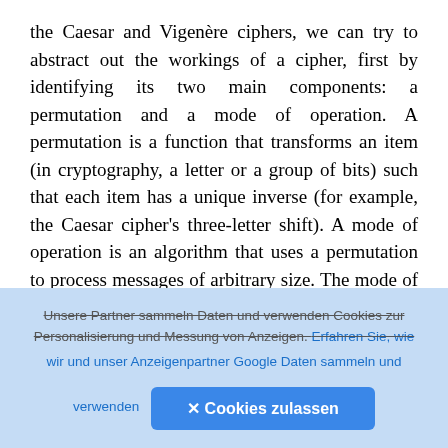the Caesar and Vigenère ciphers, we can try to abstract out the workings of a cipher, first by identifying its two main components: a permutation and a mode of operation. A permutation is a function that transforms an item (in cryptography, a letter or a group of bits) such that each item has a unique inverse (for example, the Caesar cipher's three-letter shift). A mode of operation is an algorithm that uses a permutation to process messages of arbitrary size. The mode of the Caesar cipher is trivial: it just repeats the same permutation for each letter, but as you've seen, the Vigenère cipher has a more complex mode, where letters at different positions undergo different permutations.
Unsere Partner sammeln Daten und verwenden Cookies zur Personalisierung und Messung von Anzeigen. Erfahren Sie, wie wir und unser Anzeigenpartner Google Daten sammeln und verwenden